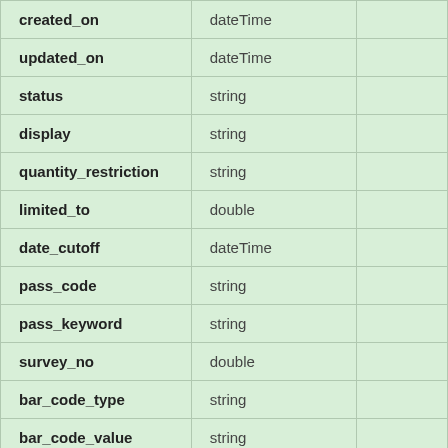| Field | Type |  |
| --- | --- | --- |
| created_on | dateTime |  |
| updated_on | dateTime |  |
| status | string |  |
| display | string |  |
| quantity_restriction | string |  |
| limited_to | double |  |
| date_cutoff | dateTime |  |
| pass_code | string |  |
| pass_keyword | string |  |
| survey_no | double |  |
| bar_code_type | string |  |
| bar_code_value | string |  |